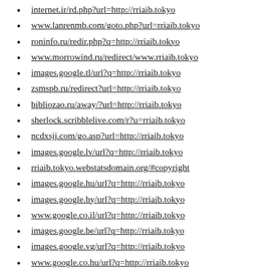internet.ir/rd.php?url=http://rriaib.tokyo
www.lanrenmb.com/goto.php?url=rriaib.tokyo
roninfo.ru/redir.php?q=http://rriaib.tokyo
www.morrowind.ru/redirect/www.rriaib.tokyo
images.google.tl/url?q=http://rriaib.tokyo
zsmspb.ru/redirect?url=http://rriaib.tokyo
bibliozao.ru/away/?url=http://rriaib.tokyo
sherlock.scribblelive.com/r?u=rriaib.tokyo
ncdxsjj.com/go.asp?url=http://rriaib.tokyo
images.google.lv/url?q=http://rriaib.tokyo
rriaib.tokyo.webstatsdomain.org/#copyright
images.google.hu/url?q=http://rriaib.tokyo
images.google.by/url?q=http://rriaib.tokyo
www.google.co.il/url?q=http://rriaib.tokyo
images.google.be/url?q=http://rriaib.tokyo
images.google.vg/url?q=http://rriaib.tokyo
www.google.co.hu/url?q=http://rriaib.tokyo
images.google.td/url?q=http://rriaib.tokyo
images.google.dm/url?q=http://rriaib.tokyo